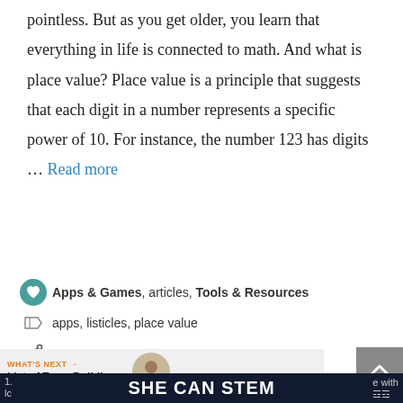pointless. But as you get older, you learn that everything in life is connected to math. And what is place value? Place value is a principle that suggests that each digit in a number represents a specific power of 10. For instance, the number 123 has digits … Read more
Apps & Games, articles, Tools & Resources
apps, listicles, place value
Leave a comment
WHAT'S NEXT → List of Team Building...
SHE CAN STEM